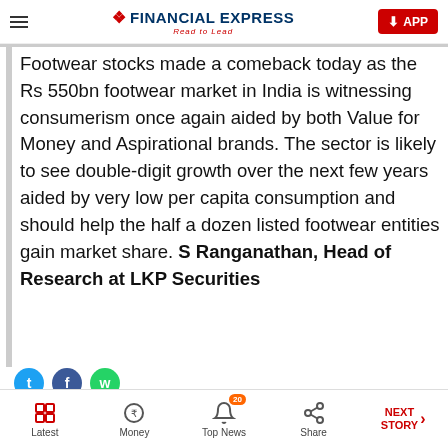FINANCIAL EXPRESS – Read to Lead | APP
Footwear stocks made a comeback today as the Rs 550bn footwear market in India is witnessing consumerism once again aided by both Value for Money and Aspirational brands. The sector is likely to see double-digit growth over the next few years aided by very low per capita consumption and should help the half a dozen listed footwear entities gain market share. S Ranganathan, Head of Research at LKP Securities
[Figure (screenshot): Advertisement banner with flyexclusive branding on dark blue background]
Latest | Money | Top News (20) | Share | NEXT STORY